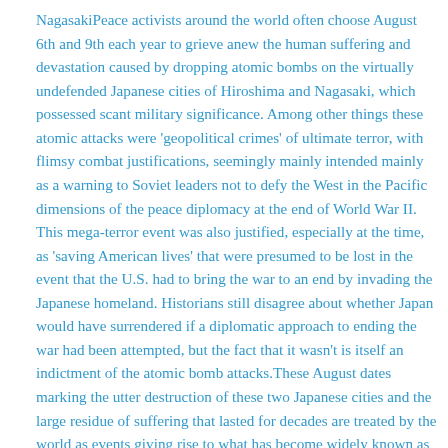NagasakiPeace activists around the world often choose August 6th and 9th each year to grieve anew the human suffering and devastation caused by dropping atomic bombs on the virtually undefended Japanese cities of Hiroshima and Nagasaki, which possessed scant military significance. Among other things these atomic attacks were 'geopolitical crimes' of ultimate terror, with flimsy combat justifications, seemingly mainly intended mainly as a warning to Soviet leaders not to defy the West in the Pacific dimensions of the peace diplomacy at the end of World War II. This mega-terror event was also justified, especially at the time, as 'saving American lives' that were presumed to be lost in the event that the U.S. had to bring the war to an end by invading the Japanese homeland. Historians still disagree about whether Japan would have surrendered if a diplomatic approach to ending the war had been attempted, but the fact that it wasn't is itself an indictment of the atomic bomb attacks.These August dates marking the utter destruction of these two Japanese cities and the large residue of suffering that lasted for decades are treated by the world as events giving rise to what has become widely known as the nuclear age, perhaps by now superseded by what is called the digital age. This awful beginning of the nuclear age can, however, never be forgotten or redeemed, although